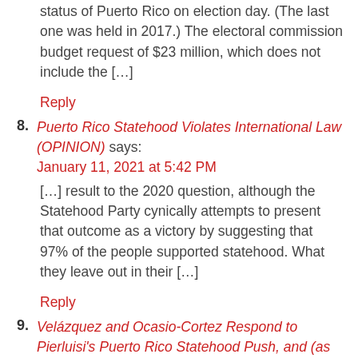status of Puerto Rico on election day. (The last one was held in 2017.) The electoral commission budget request of $23 million, which does not include the […]
Reply
8. Puerto Rico Statehood Violates International Law (OPINION) says: January 11, 2021 at 5:42 PM
[…] result to the 2020 question, although the Statehood Party cynically attempts to present that outcome as a victory by suggesting that 97% of the people supported statehood. What they leave out in their […]
Reply
9. Velázquez and Ocasio-Cortez Respond to Pierluisi's Puerto Rico Statehood Push, and (as Expected) They're Not Supporting